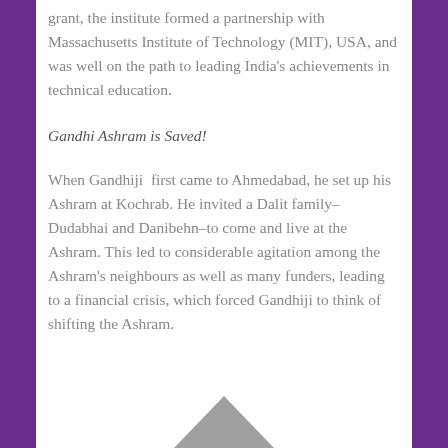grant, the institute formed a partnership with Massachusetts Institute of Technology (MIT), USA, and was well on the path to leading India's achievements in technical education.
Gandhi Ashram is Saved!
When Gandhiji first came to Ahmedabad, he set up his Ashram at Kochrab. He invited a Dalit family– Dudabhai and Danibehn–to come and live at the Ashram. This led to considerable agitation among the Ashram's neighbours as well as many funders, leading to a financial crisis, which forced Gandhiji to think of shifting the Ashram.
[Figure (illustration): Partial illustration visible at bottom of page, appears to show a triangular shape or monument tip]